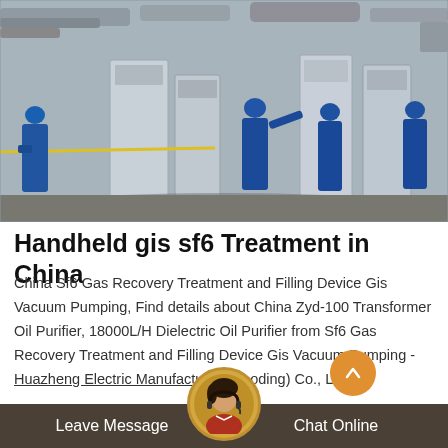[Figure (photo): Workers in blue uniforms and hard hats inspecting electrical switchgear/transformer equipment at an industrial site in China]
Handheld gis sf6 Treatment in China
China Sf6 Gas Recovery Treatment and Filling Device Gis Vacuum Pumping, Find details about China Zyd-100 Transformer Oil Purifier, 18000L/H Dielectric Oil Purifier from Sf6 Gas Recovery Treatment and Filling Device Gis Vacuum Pumping - Huazheng Electric Manufacturing(Baoding) Co., Ltd.
Leave Message   Chat Online